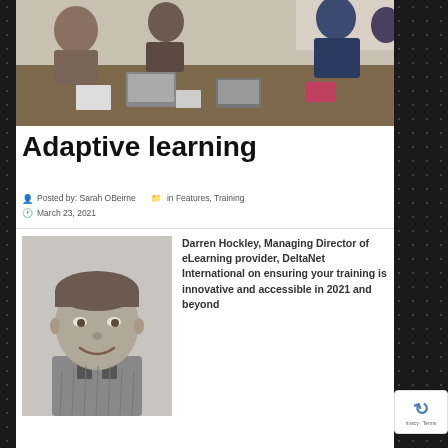[Figure (photo): People sitting around a conference table with laptops and devices, working together in a meeting room setting. Black and white/muted tones.]
Adaptive learning
Posted by: Sarah OBeirne  in Features, Training
March 23, 2021
[Figure (photo): Black and white headshot portrait of Darren Hockley, a middle-aged man smiling, wearing a collared shirt.]
Darren Hockley, Managing Director of eLearning provider, DeltaNet International on ensuring your training is innovative and accessible in 2021 and beyond